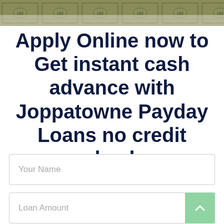[Figure (photo): Banner image of US dollar bills / money as a decorative header background]
Apply Online now to Get instant cash advance with Joppatowne Payday Loans no credit check
Your Name
Loan Amount